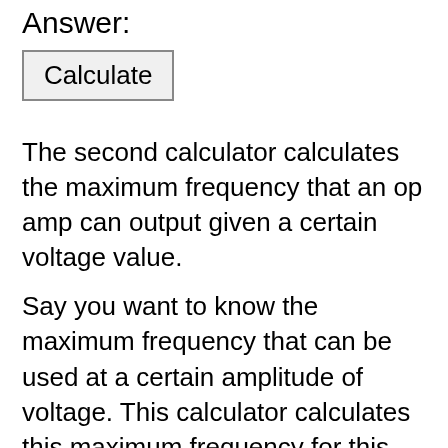Answer:
[Figure (other): A button labeled 'Calculate']
The second calculator calculates the maximum frequency that an op amp can output given a certain voltage value.
Say you want to know the maximum frequency that can be used at a certain amplitude of voltage. This calculator calculates this maximum frequency for this voltage value.
The slew rate on datasheets is defined as volts per unit microseconds. This corresponds to megahertz frequencies, since the inverse of microseconds is